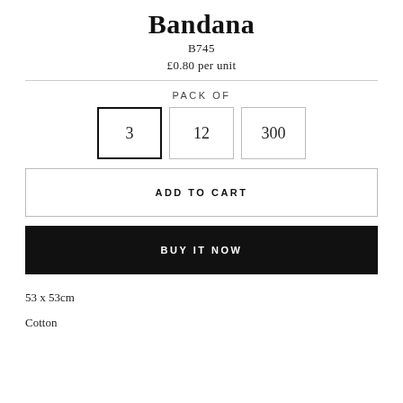Bandana
B745
£0.80 per unit
PACK OF
3   12   300
ADD TO CART
BUY IT NOW
53 x 53cm
Cotton